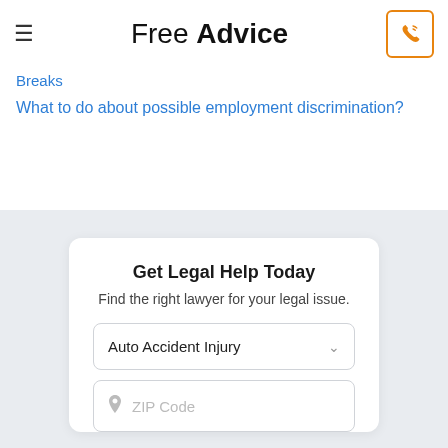Free Advice
Breaks
What to do about possible employment discrimination?
Get Legal Help Today
Find the right lawyer for your legal issue.
Auto Accident Injury
ZIP Code